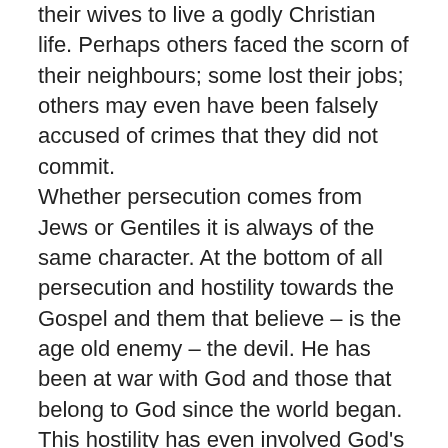their wives to live a godly Christian life. Perhaps others faced the scorn of their neighbours; some lost their jobs; others may even have been falsely accused of crimes that they did not commit. Whether persecution comes from Jews or Gentiles it is always of the same character. At the bottom of all persecution and hostility towards the Gospel and them that believe – is the age old enemy – the devil. He has been at war with God and those that belong to God since the world began. This hostility has even involved God's favoured people the Jews. Some have said that Paul is speaking harshly against his own Jewish people here because he wanted to retaliate for